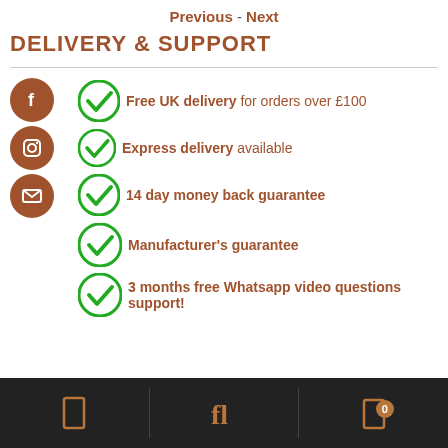Previous - Next
DELIVERY & SUPPORT
Free UK delivery for orders over £100
Express delivery available
14 day money back guarantee
Manufacturer's guarantee
3 months free Whatsapp video questions support!
Navigation footer with icons